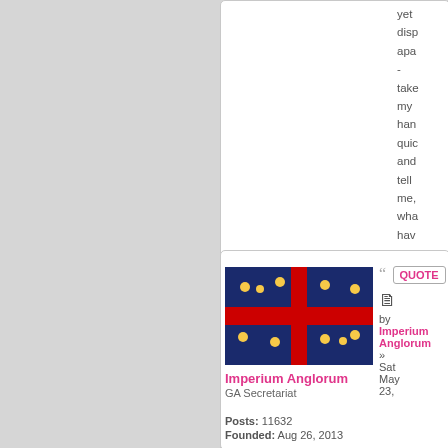yet disp apa - take my han quic and tell me, wha hav you in you hea -- Rog Zeli
[Figure (illustration): Flag of Imperium Anglorum: dark blue field with red cross and gold/yellow stars]
Imperium Anglorum
GA Secretariat
Posts: 11632
Founded: Aug 26, 2013
QUOTE
by Imperium Anglorum »
Sat May 23,